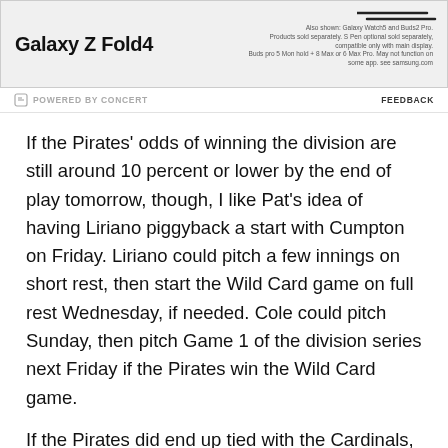[Figure (photo): Samsung Galaxy Z Fold4 advertisement banner showing the device. Text reads 'Galaxy Z Fold4' with small print about products sold separately and compatibility. Also shows Galaxy Watch5 and Buds2 Pro.]
POWERED BY CONCERT    FEEDBACK
If the Pirates' odds of winning the division are still around 10 percent or lower by the end of play tomorrow, though, I like Pat's idea of having Liriano piggyback a start with Cumpton on Friday. Liriano could pitch a few innings on short rest, then start the Wild Card game on full rest Wednesday, if needed. Cole could pitch Sunday, then pitch Game 1 of the division series next Friday if the Pirates win the Wild Card game.
If the Pirates did end up tied with the Cardinals, they would probably have to start Jeff Locke, or maybe Volquez on short rest, in a Monday tiebreaker, but I'm not sure I see a way around that, so it's better to not